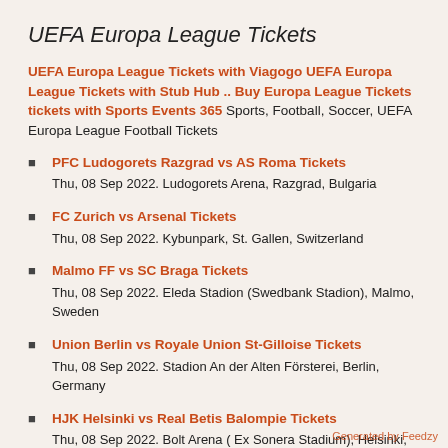UEFA Europa League Tickets
UEFA Europa League Tickets with Viagogo UEFA Europa League Tickets with Stub Hub .. Buy Europa League Tickets tickets with Sports Events 365 Sports, Football, Soccer, UEFA Europa League Football Tickets
PFC Ludogorets Razgrad vs AS Roma Tickets
Thu, 08 Sep 2022. Ludogorets Arena, Razgrad, Bulgaria
FC Zurich vs Arsenal Tickets
Thu, 08 Sep 2022. Kybunpark, St. Gallen, Switzerland
Malmo FF vs SC Braga Tickets
Thu, 08 Sep 2022. Eleda Stadion (Swedbank Stadion), Malmo, Sweden
Union Berlin vs Royale Union St-Gilloise Tickets
Thu, 08 Sep 2022. Stadion An der Alten Försterei, Berlin, Germany
HJK Helsinki vs Real Betis Balompie Tickets
Thu, 08 Sep 2022. Bolt Arena ( Ex Sonera Stadium), Helsinki, Finland
Generated by Feedzy